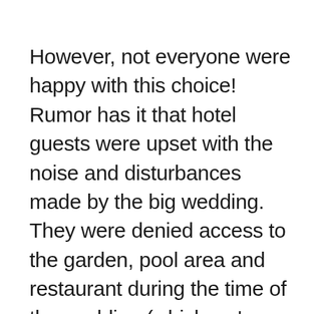However, not everyone were happy with this choice! Rumor has it that hotel guests were upset with the noise and disturbances made by the big wedding. They were denied access to the garden, pool area and restaurant during the time of the wedding (which we've already learned can take three days when we're dealing with celebrities). But the hotel was grateful for the publicity – after sharing their magical wedding photos,